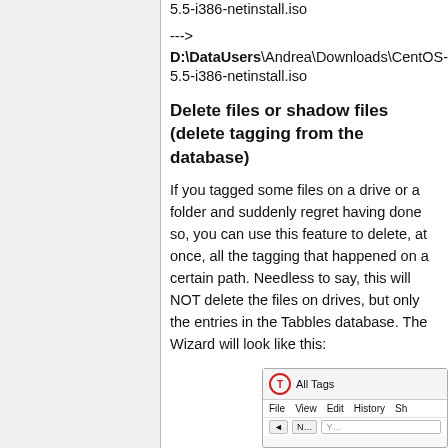5.5-i386-netinstall.iso
--->
D:\DataUsers\Andrea\Downloads\CentOS-5.5-i386-netinstall.iso
Delete files or shadow files (delete tagging from the database)
If you tagged some files on a drive or a folder and suddenly regret having done so, you can use this feature to delete, at once, all the tagging that happened on a certain path. Needless to say, this will NOT delete the files on drives, but only the entries in the Tabbles database. The Wizard will look like this:
[Figure (screenshot): Screenshot of Tabbles application window showing 'All Tags' title bar with File, View, Edit, History menu items and toolbar buttons]